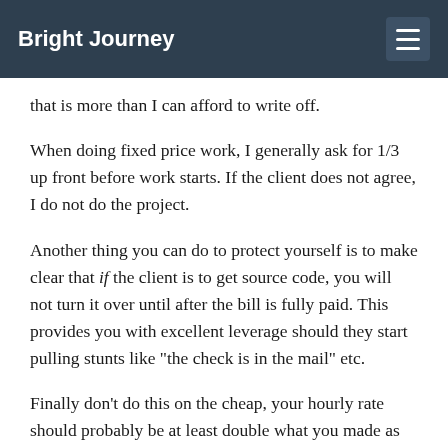Bright Journey
that is more than I can afford to write off.
When doing fixed price work, I generally ask for 1/3 up front before work starts. If the client does not agree, I do not do the project.
Another thing you can do to protect yourself is to make clear that if the client is to get source code, you will not turn it over until after the bill is fully paid. This provides you with excellent leverage should they start pulling stunts like "the check is in the mail" etc.
Finally don't do this on the cheap, your hourly rate should probably be at least double what you made as an employee. If you are billing by the hour (rather than fixed price) you could ask that they pay the first week in advance and make further payments weekly; always in advance, that way you will always have at least as much money in your pocket as you earned. If they are ever